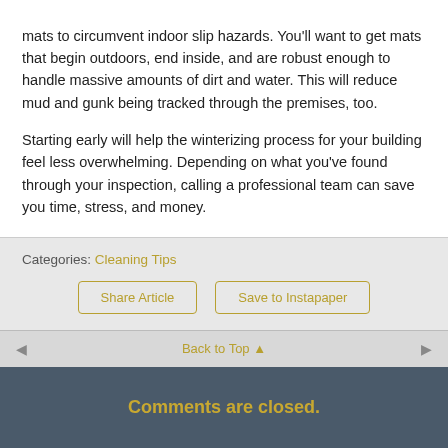mats to circumvent indoor slip hazards. You'll want to get mats that begin outdoors, end inside, and are robust enough to handle massive amounts of dirt and water. This will reduce mud and gunk being tracked through the premises, too.
Starting early will help the winterizing process for your building feel less overwhelming. Depending on what you've found through your inspection, calling a professional team can save you time, stress, and money.
Categories: Cleaning Tips
Share Article
Save to Instapaper
Back to Top
Comments are closed.
Powered by WPtouch Pro 2.8.3 By BraveNewCode